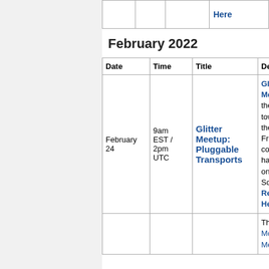| Date | Time | Title | Desc |
| --- | --- | --- | --- |
|  |  |  | Here |
February 2022
| Date | Time | Title | Desc |
| --- | --- | --- | --- |
| February 24 | 9am EST / 2pm UTC | Glitter Meetup: Pluggable Transports | Glitter Meetup the w... town ... the In... Freed... comm... happ... on th... Squa... Read Here |
|  |  |  | The M Monthl Meet... |